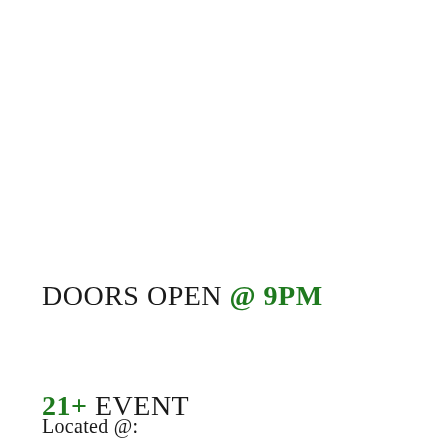DOORS OPEN @ 9PM
21+ EVENT
Located @: